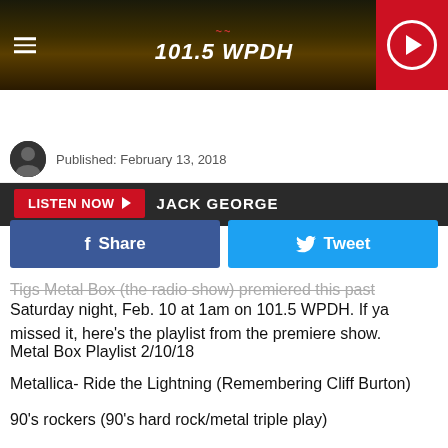101.5 WPDH
LISTEN NOW  JACK GEORGE
Published: February 13, 2018
[Figure (other): Facebook Share button and Twitter Tweet button]
Tigs Metal Box (the radio show) premiered this past Saturday night, Feb. 10 at 1am on 101.5 WPDH. If ya missed it, here's the playlist from the premiere show.
Metal Box Playlist 2/10/18
Metallica- Ride the Lightning (Remembering Cliff Burton)
90's rockers (90's hard rock/metal triple play)
Alice in Chains- "Angry Chair"